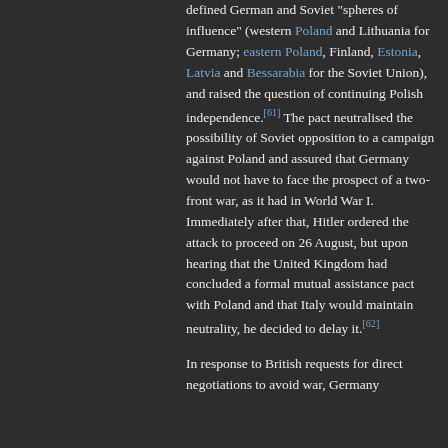defined German and Soviet "spheres of influence" (western Poland and Lithuania for Germany; eastern Poland, Finland, Estonia, Latvia and Bessarabia for the Soviet Union), and raised the question of continuing Polish independence.[61] The pact neutralised the possibility of Soviet opposition to a campaign against Poland and assured that Germany would not have to face the prospect of a two-front war, as it had in World War I. Immediately after that, Hitler ordered the attack to proceed on 26 August, but upon hearing that the United Kingdom had concluded a formal mutual assistance pact with Poland and that Italy would maintain neutrality, he decided to delay it.[62]
In response to British requests for direct negotiations to avoid war, Germany